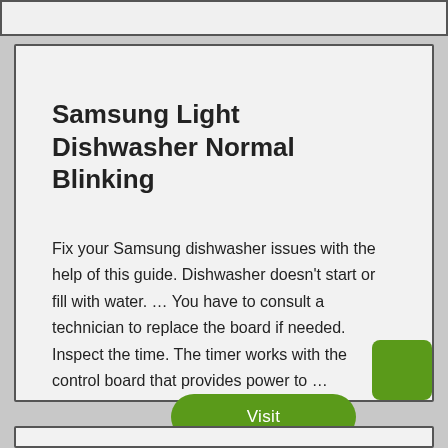Samsung Light Dishwasher Normal Blinking
Fix your Samsung dishwasher issues with the help of this guide. Dishwasher doesn't start or fill with water. … You have to consult a technician to replace the board if needed. Inspect the time. The timer works with the control board that provides power to …